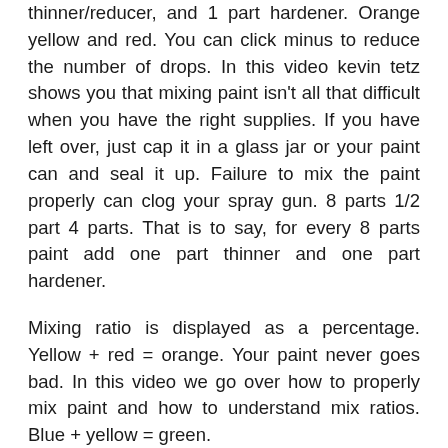thinner/reducer, and 1 part hardener. Orange yellow and red. You can click minus to reduce the number of drops. In this video kevin tetz shows you that mixing paint isn't all that difficult when you have the right supplies. If you have left over, just cap it in a glass jar or your paint can and seal it up. Failure to mix the paint properly can clog your spray gun. 8 parts 1/2 part 4 parts. That is to say, for every 8 parts paint add one part thinner and one part hardener.
Mixing ratio is displayed as a percentage. Yellow + red = orange. Your paint never goes bad. In this video we go over how to properly mix paint and how to understand mix ratios. Blue + yellow = green.